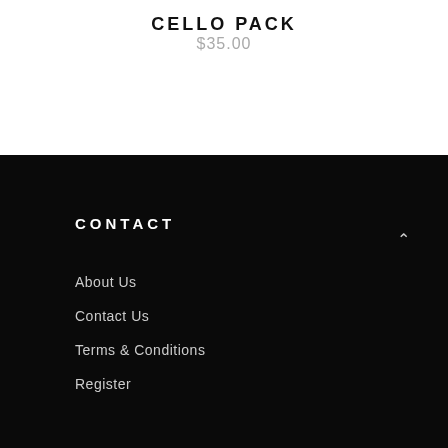CELLO PACK
$35.00
CONTACT
About Us
Contact Us
Terms & Conditions
Register